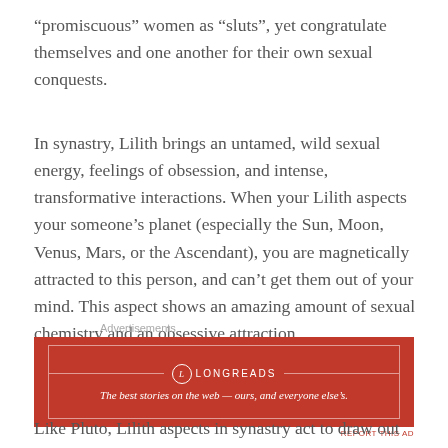“promiscuous” women as “sluts”, yet congratulate themselves and one another for their own sexual conquests.
In synastry, Lilith brings an untamed, wild sexual energy, feelings of obsession, and intense, transformative interactions. When your Lilith aspects your someone’s planet (especially the Sun, Moon, Venus, Mars, or the Ascendant), you are magnetically attracted to this person, and can’t get them out of your mind. This aspect shows an amazing amount of sexual chemistry and an obsessive attraction.
Advertisements
[Figure (other): Longreads advertisement banner with red background. Shows Longreads logo and tagline: The best stories on the web — ours, and everyone else’s.]
Like Pluto, Lilith aspects in synastry act to draw out each